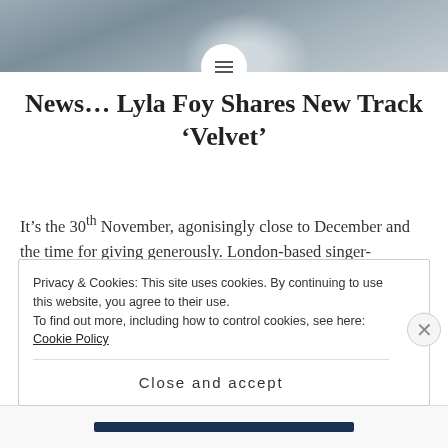[Figure (photo): Background photo of a person standing on rocky outdoor terrain with shrubs, muted blue-grey tones]
News… Lyla Foy Shares New Track 'Velvet'
It's the 30th November, agonisingly close to December and the time for giving generously. London-based singer-songwriter Lyla Foy has already got into that Christmas spirit a little early by sharing with us her latest track 'Velvet.' Don't worry though, this isn't a cheesy Christmas tune, far from it. Instead 'Velvet' is as soft as the
Privacy & Cookies: This site uses cookies. By continuing to use this website, you agree to their use.
To find out more, including how to control cookies, see here: Cookie Policy
Close and accept